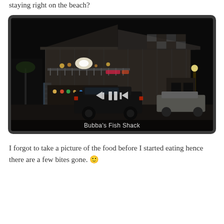staying right on the beach?
[Figure (photo): Night-time exterior photo of Bubba's Fish Shack, a large two-story wooden building lit with colorful lights, a dark SUV parked in front, with navigation arrows and a pause button overlaid on the image. Caption reads 'Bubba's Fish Shack'.]
I forgot to take a picture of the food before I started eating hence there are a few bites gone. 🙂